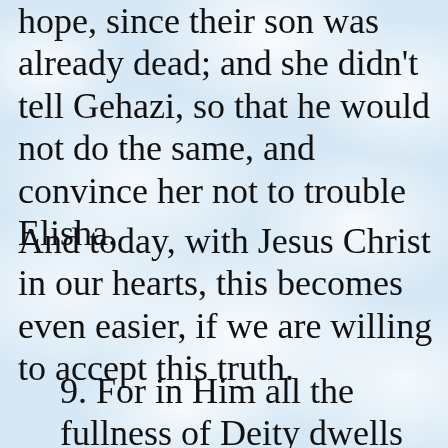hope, since their son was already dead; and she didn't tell Gehazi, so that he would not do the same, and convince her not to trouble Elisha.
And today, with Jesus Christ in our hearts, this becomes even easier, if we are willing to accept this truth.
9. For in Him all the fullness of Deity dwells in